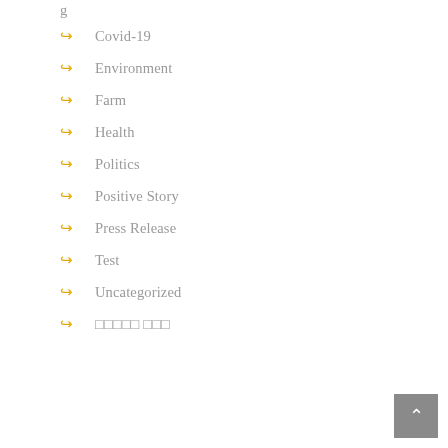Covid-19
Environment
Farm
Health
Politics
Positive Story
Press Release
Test
Uncategorized
□□□□□ □□□